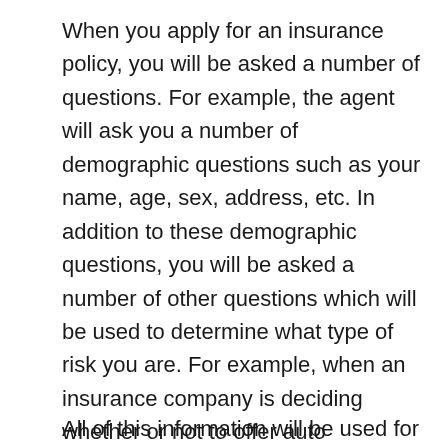When you apply for an insurance policy, you will be asked a number of questions. For example, the agent will ask you a number of demographic questions such as your name, age, sex, address, etc. In addition to these demographic questions, you will be asked a number of other questions which will be used to determine what type of risk you are. For example, when an insurance company is deciding whether or not to offer auto insurance to a potential policy owner, it will want to know about the person's previous driving record, whether there have any recent accidents or tickets, what type of car is to be insured and various other types of information.
All of this information will be used for two